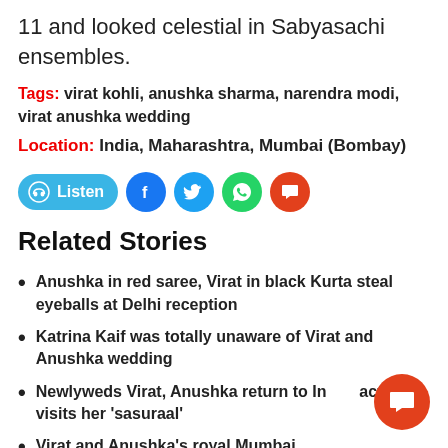11 and looked celestial in Sabyasachi ensembles.
Tags: virat kohli, anushka sharma, narendra modi, virat anushka wedding
Location: India, Maharashtra, Mumbai (Bombay)
[Figure (infographic): Social sharing bar with Listen button (blue pill), Facebook (blue circle), Twitter (blue circle), WhatsApp (green circle), Comment (red circle) icons]
Related Stories
Anushka in red saree, Virat in black Kurta steal eyeballs at Delhi reception
Katrina Kaif was totally unaware of Virat and Anushka wedding
Newlyweds Virat, Anushka return to India; actress visits her 'sasuraal'
Virat and Anushka's royal Mumbai